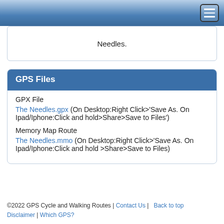Needles.
GPS Files
GPX File
The Needles.gpx (On Desktop:Right Click>'Save As. On Ipad/Iphone:Click and hold>Share>Save to Files')
Memory Map Route
The Needles.mmo (On Desktop:Right Click>'Save As. On Ipad/Iphone:Click and hold >Share>Save to Files)
©2022 GPS Cycle and Walking Routes | Contact Us | Back to top Disclaimer | Which GPS?